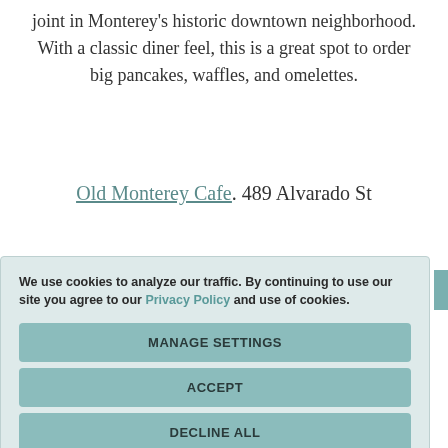joint in Monterey's historic downtown neighborhood. With a classic diner feel, this is a great spot to order big pancakes, waffles, and omelettes.
Old Monterey Cafe. 489 Alvarado St
We use cookies to analyze our traffic. By continuing to use our site you agree to our Privacy Policy and use of cookies.
MANAGE SETTINGS
ACCEPT
DECLINE ALL
PRIVACY POLICY